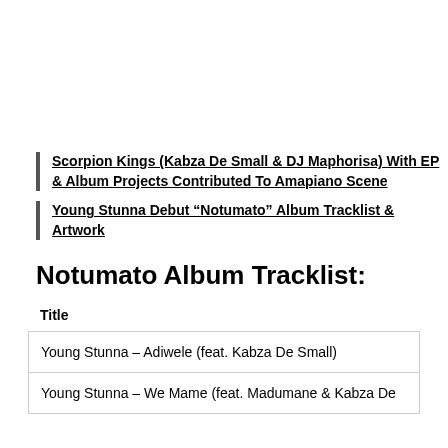Scorpion Kings (Kabza De Small & DJ Maphorisa) With EP & Album Projects Contributed To Amapiano Scene
Young Stunna Debut “Notumato” Album Tracklist & Artwork
Notumato Album Tracklist:
| Title |
| --- |
| Young Stunna – Adiwele (feat. Kabza De Small) |
| Young Stunna – We Mame (feat. Madumane & Kabza De |